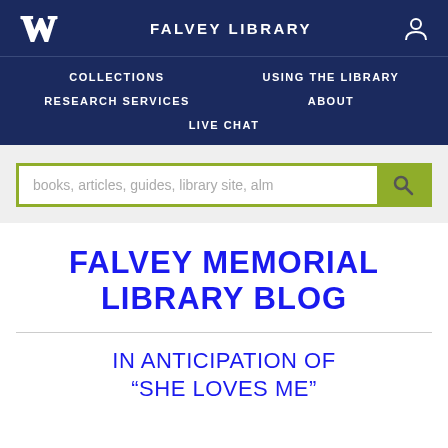FALVEY LIBRARY
[Figure (screenshot): Falvey Library website navigation with logo, nav menu (COLLECTIONS, USING THE LIBRARY, RESEARCH SERVICES, ABOUT, LIVE CHAT), search bar, and blog title]
FALVEY MEMORIAL LIBRARY BLOG
IN ANTICIPATION OF “SHE LOVES ME”